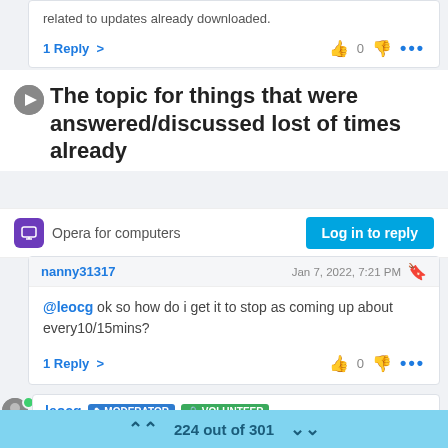related to updates already downloaded.
1 Reply > [thumbs up] 0 [thumbs down] ...
The topic for things that were answered/discussed lost of times already
Opera for computers
Log in to reply
nanny31317   Jan 7, 2022, 7:21 PM
@leocg ok so how do i get it to stop as coming up about every10/15mins?
1 Reply > [thumbs up] 0 [thumbs down] ...
leocg  MODERATOR  VOLUNTEER
224 out of 301